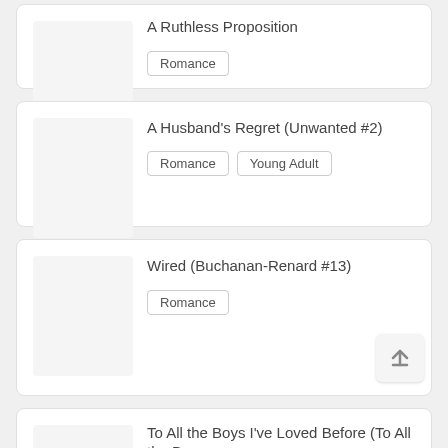A Ruthless Proposition
Romance
A Husband's Regret (Unwanted #2)
Romance
Young Adult
Wired (Buchanan-Renard #13)
Romance
To All the Boys I've Loved Before (To All the Boys…